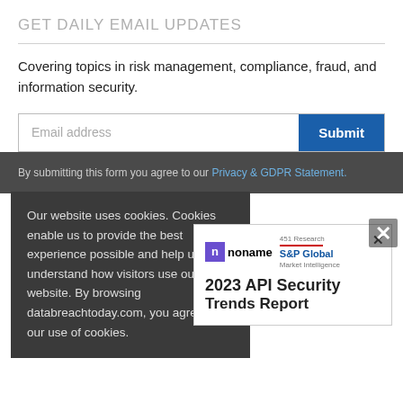GET DAILY EMAIL UPDATES
Covering topics in risk management, compliance, fraud, and information security.
Email address  Submit
By submitting this form you agree to our Privacy & GDPR Statement.
Our website uses cookies. Cookies enable us to provide the best experience possible and help us understand how visitors use our website. By browsing databreachtoday.com, you agree to our use of cookies.
[Figure (other): Ad popup with Noname and S&P Global Market Intelligence logos, with text '2023 API Security Trends Report']